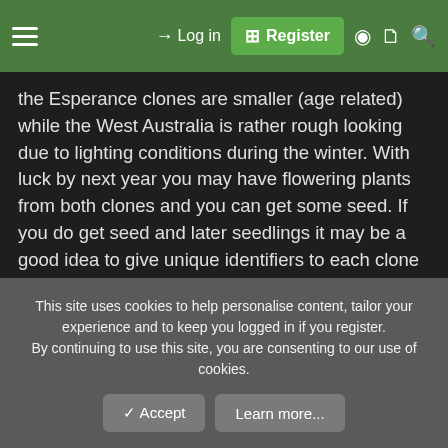Log in | Register
the Esperance clones are smaller (age related) while the West Australia is rather rough looking due to lighting conditions during the winter. With luck by next year you may have flowering plants from both clones and you can get some seed. If you do get seed and later seedlings it may be a good idea to give unique identifiers to each clone so people can track the hereditary lines to produce more seed.
The parent plants normally flower for me beginning the end of May or middle of June so I don't want to disturb my "breeding" colonies. I hope to get enough seed eventually to donate to the ICPS seedbank.
This site uses cookies to help personalise content, tailor your experience and to keep you logged in if you register.
By continuing to use this site, you are consenting to our use of cookies.